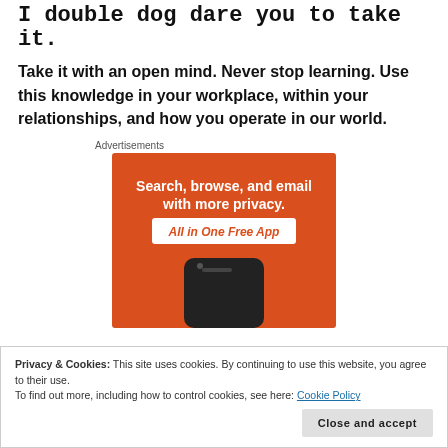I double dog dare you to take it.
Take it with an open mind. Never stop learning. Use this knowledge in your workplace, within your relationships, and how you operate in our world.
Advertisements
[Figure (illustration): Orange advertisement banner reading 'Search, browse, and email with more privacy. All in One Free App' with a smartphone graphic at the bottom.]
Privacy & Cookies: This site uses cookies. By continuing to use this website, you agree to their use.
To find out more, including how to control cookies, see here: Cookie Policy